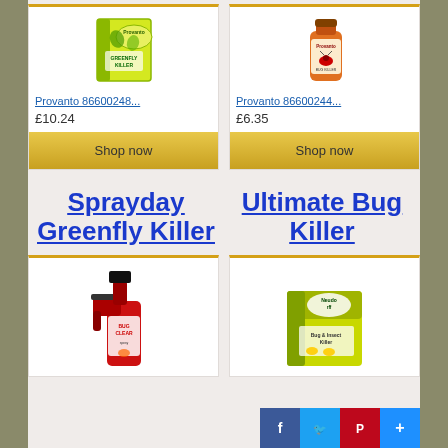[Figure (photo): Provanto Greenfly Killer product box - green packaging]
Provanto 86600248...
£10.24
Shop now
[Figure (photo): Provanto Ultimate Bug Killer bottle - orange packaging]
Provanto 86600244...
£6.35
Shop now
Sprayday Greenfly Killer
Ultimate Bug Killer
[Figure (photo): Bug Clear spray bottle - red with black trigger spray]
[Figure (photo): Neudorff Bug and Insect Killer box - yellow green packaging]